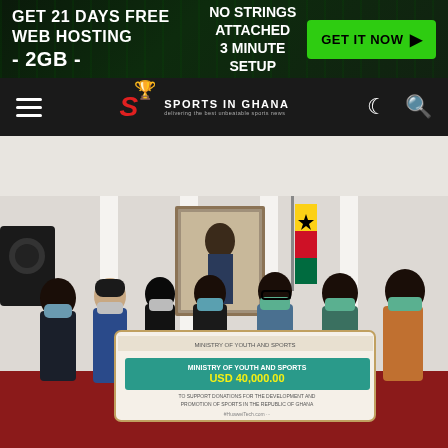[Figure (screenshot): Web hosting advertisement banner: 'GET 21 DAYS FREE WEB HOSTING - 2GB -' on the left, 'NO STRINGS ATTACHED 3 MINUTE SETUP' in the middle, green 'GET IT NOW' button with arrow on the right, dark green tech background]
[Figure (screenshot): Navigation bar for 'Sports in Ghana' website with hamburger menu on left, Sports in Ghana logo in center, moon and search icons on right, dark background]
[Figure (photo): Group photo of people wearing face masks standing indoors holding a large ceremonial check/banner from Huawei made out to Ministry of Youth and Sports for USD 40,000.00, taken at what appears to be a government office with Ghanaian flag in background]